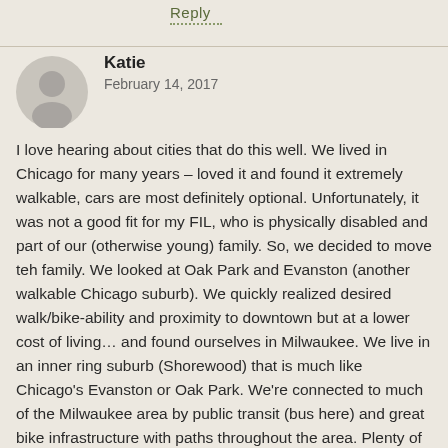Reply
Katie
February 14, 2017
I love hearing about cities that do this well. We lived in Chicago for many years – loved it and found it extremely walkable, cars are most definitely optional. Unfortunately, it was not a good fit for my FIL, who is physically disabled and part of our (otherwise young) family. So, we decided to move teh family. We looked at Oak Park and Evanston (another walkable Chicago suburb). We quickly realized desired walk/bike-ability and proximity to downtown but at a lower cost of living… and found ourselves in Milwaukee. We live in an inner ring suburb (Shorewood) that is much like Chicago's Evanston or Oak Park. We're connected to much of the Milwaukee area by public transit (bus here) and great bike infrastructure with paths throughout the area. Plenty of people are still driving everywhere (in part b/c there's no traffic and parking is easy… fwiw) but I also have lots of company on the bike trails and sidewalks year round (thanks to local bike